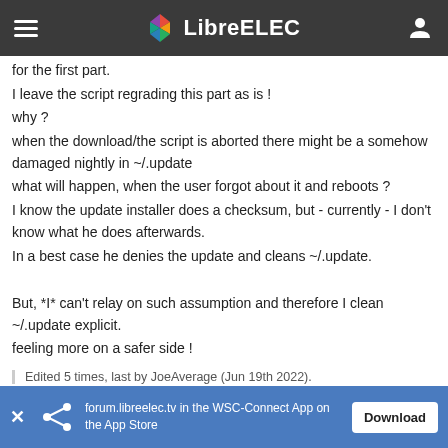LibreELEC
for the first part.
I leave the script regrading this part as is !
why ?
when the download/the script is aborted there might be a somehow damaged nightly in ~/.update
what will happen, when the user forgot about it and reboots ?
I know the update installer does a checksum, but - currently - I don't know what he does afterwards.
In a best case he denies the update and cleans ~/.update.

But, *I* can't relay on such assumption and therefore I clean ~/.update explicit.
feeling more on a safer side !
Edited 5 times, last by JoeAverage (Jun 19th 2022).
forum.libreelec.tv in the WSC-Connect App on the App Store